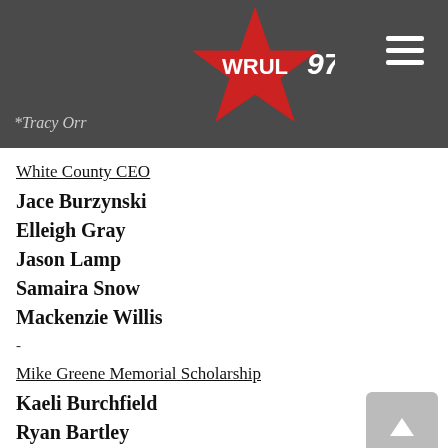*Tracy Orr
White County CEO
Jace Burzynski
Elleigh Gray
Jason Lamp
Samaira Snow
Mackenzie Willis
-
Mike Greene Memorial Scholarship
Kaeli Burchfield
Ryan Bartley